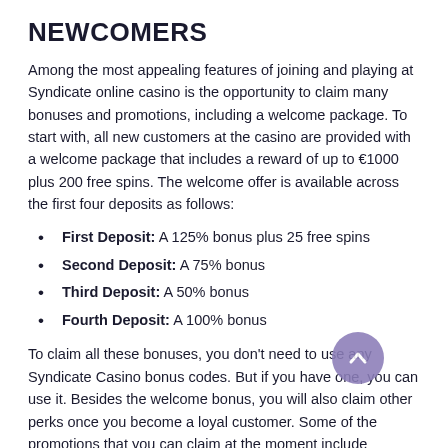NEWCOMERS
Among the most appealing features of joining and playing at Syndicate online casino is the opportunity to claim many bonuses and promotions, including a welcome package. To start with, all new customers at the casino are provided with a welcome package that includes a reward of up to €1000 plus 200 free spins. The welcome offer is available across the first four deposits as follows:
First Deposit: A 125% bonus plus 25 free spins
Second Deposit: A 75% bonus
Third Deposit: A 50% bonus
Fourth Deposit: A 100% bonus
To claim all these bonuses, you don't need to use any Syndicate Casino bonus codes. But if you have one, you can use it. Besides the welcome bonus, you will also claim other perks once you become a loyal customer. Some of the promotions that you can claim at the moment include